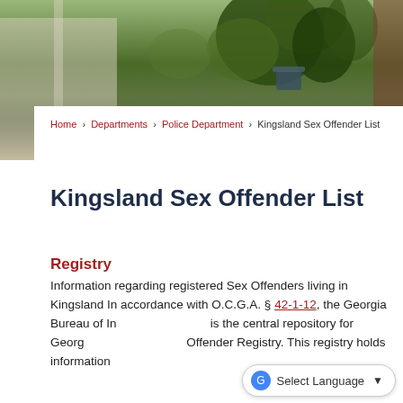[Figure (photo): Blurred background photo showing potted plants and greenery on a porch or balcony, serving as a decorative hero banner]
Home › Departments › Police Department › Kingsland Sex Offender List
Kingsland Sex Offender List
Registry
Information regarding registered Sex Offenders living in Kingsland In accordance with O.C.G.A. § 42-1-12, the Georgia Bureau of Investigation (GBI) is the central repository for Georgia's Sexual Offender Registry. This registry holds information...